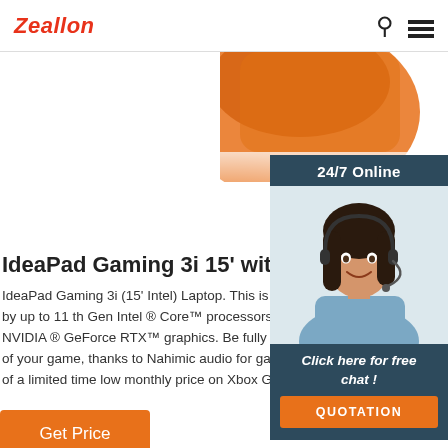Zeallon
[Figure (photo): Orange product (possibly a laptop or box) partially visible at top of page, cropped]
[Figure (photo): Customer service agent (woman with headset, smiling) in a chat widget panel on the right side. Panel shows '24/7 Online', 'Click here for free chat!', and a QUOTATION button.]
IdeaPad Gaming 3i 15' with Intel
IdeaPad Gaming 3i (15' Intel) Laptop. This is peak by up to 11 th Gen Intel ® Core™ processors. 15.6 NVIDIA ® GeForce RTX™ graphics. Be fully immer of your game, thanks to Nahimic audio for gamer of a limited time low monthly price on Xbox Game
Get Price